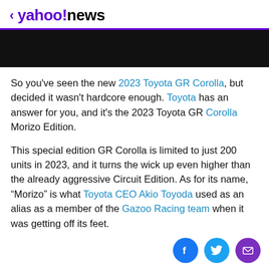< yahoo!news
[Figure (other): Black image/photo bar]
So you've seen the new 2023 Toyota GR Corolla, but decided it wasn't hardcore enough. Toyota has an answer for you, and it's the 2023 Toyota GR Corolla Morizo Edition.
This special edition GR Corolla is limited to just 200 units in 2023, and it turns the wick up even higher than the already aggressive Circuit Edition. As for its name, "Morizo" is what Toyota CEO Akio Toyoda used as an alias as a member of the Gazoo Racing team when it was getting off its feet.